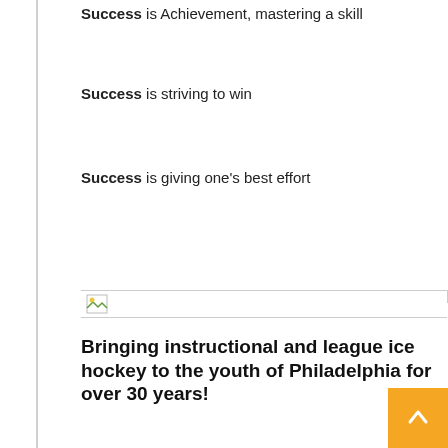Success is Achievement, mastering a skill
Success is striving to win
Success is giving one's best effort
[Figure (photo): Broken/missing image placeholder with a small icon, representing an image that failed to load. Large white/light grey empty area below.]
Bringing instructional and league ice hockey to the youth of Philadelphia for over 30 years!